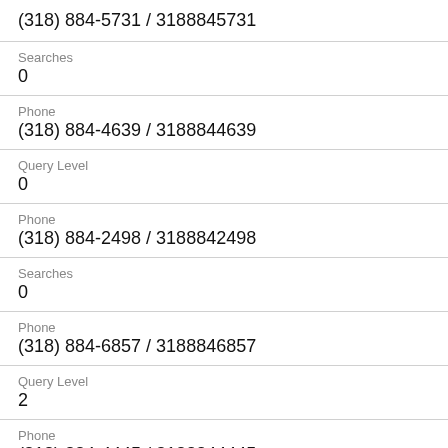(318) 884-5731 / 3188845731
Searches
0
Phone
(318) 884-4639 / 3188844639
Query Level
0
Phone
(318) 884-2498 / 3188842498
Searches
0
Phone
(318) 884-6857 / 3188846857
Query Level
2
Phone
(318) 884-4445 / 3188844445
Searches